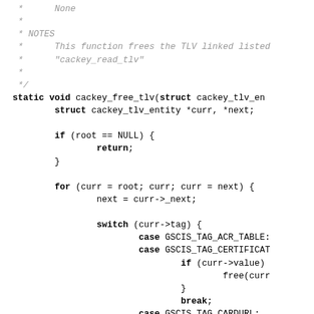Code snippet showing cackey_free_tlv function implementation in C, including comments and source code with switch/case statements for GSCIS_TAG_ACR_TABLE, GSCIS_TAG_CERTIFICATE, and GSCIS_TAG_CARDURL.